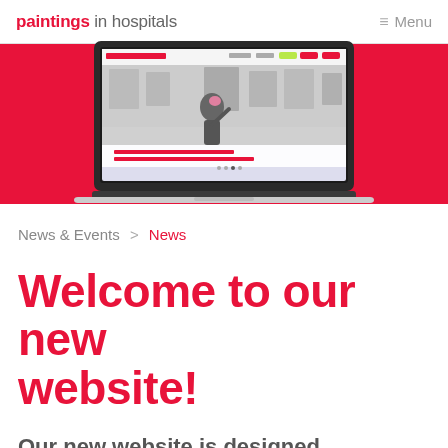paintings in hospitals  Menu
[Figure (screenshot): Screenshot of the Paintings in Hospitals website displayed on a laptop, shown on a red background banner. The website shows an art gallery with people viewing artwork.]
News & Events > News
Welcome to our new website!
Our new website is designed